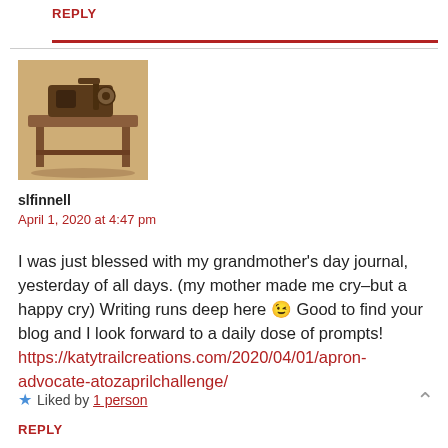REPLY
[Figure (photo): Avatar image of a vintage sewing machine on a wooden table]
slfinnell
April 1, 2020 at 4:47 pm
I was just blessed with my grandmother’s day journal, yesterday of all days. (my mother made me cry–but a happy cry) Writing runs deep here 😉 Good to find your blog and I look forward to a daily dose of prompts! https://katytrailcreations.com/2020/04/01/apron-advocate-atozaprilchallenge/
Liked by 1 person
REPLY